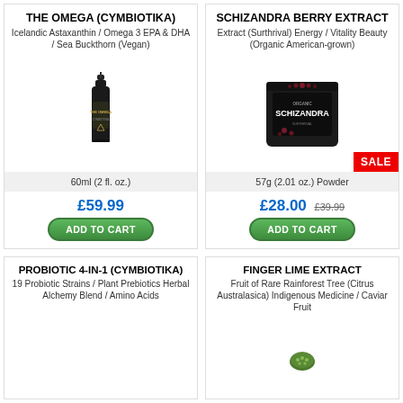THE OMEGA (CYMBIOTIKA)
Icelandic Astaxanthin / Omega 3 EPA & DHA / Sea Buckthorn (Vegan)
[Figure (photo): Dark glass bottle with pump dispenser for The Omega supplement by Cymbiotika]
60ml (2 fl. oz.)
£59.99
ADD TO CART
SCHIZANDRA BERRY EXTRACT
Extract (Surthrival) Energy / Vitality Beauty (Organic American-grown)
[Figure (photo): Dark pouch of Organic Schizandra powder with SALE badge]
57g (2.01 oz.) Powder
£28.00 £39.99
ADD TO CART
PROBIOTIC 4-IN-1 (CYMBIOTIKA)
19 Probiotic Strains / Plant Prebiotics Herbal Alchemy Blend / Amino Acids
FINGER LIME EXTRACT
Fruit of Rare Rainforest Tree (Citrus Australasica) Indigenous Medicine / Caviar Fruit